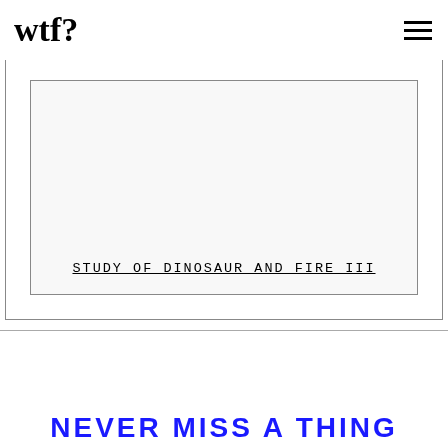wtf?
[Figure (other): A framed box with an inner bordered rectangle containing the underlined monospace text 'STUDY OF DINOSAUR AND FIRE III']
NEVER MISS A THING